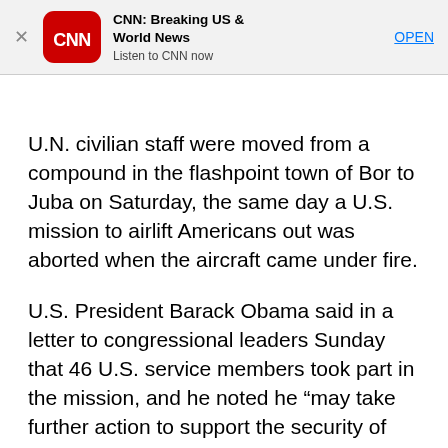[Figure (logo): CNN app advertisement banner with CNN logo (red rounded square with CNN in white), bold title 'CNN: Breaking US & World News', subtitle 'Listen to CNN now', and OPEN button in blue]
U.N. civilian staff were moved from a compound in the flashpoint town of Bor to Juba on Saturday, the same day a U.S. mission to airlift Americans out was aborted when the aircraft came under fire.
U.S. President Barack Obama said in a letter to congressional leaders Sunday that 46 U.S. service members took part in the mission, and he noted he “may take further action to support the security of U.S. citizens, personnel and property, including our Embassy, in South Sudan.”